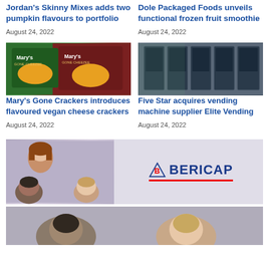Jordan's Skinny Mixes adds two pumpkin flavours to portfolio
August 24, 2022
Dole Packaged Foods unveils functional frozen fruit smoothie
August 24, 2022
[Figure (photo): Mary's Gone Crackers product boxes - green and brown packaging]
[Figure (photo): Refrigerated vending machines in a store aisle]
Mary's Gone Crackers introduces flavoured vegan cheese crackers
August 24, 2022
Five Star acquires vending machine supplier Elite Vending
August 24, 2022
[Figure (photo): Advertisement banner with people faces and BERICAP logo]